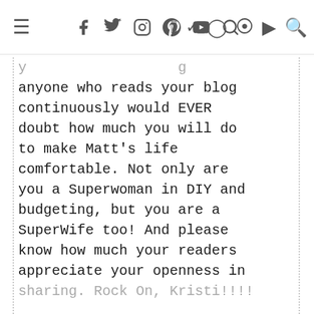≡ f t IG P ▶ 🔍
…y…g…anyone who reads your blog continuously would EVER doubt how much you will do to make Matt's life comfortable. Not only are you a Superwoman in DIY and budgeting, but you are a SuperWife too! And please know how much your readers appreciate your openness in sharing. Rock On, Kristi!!!!